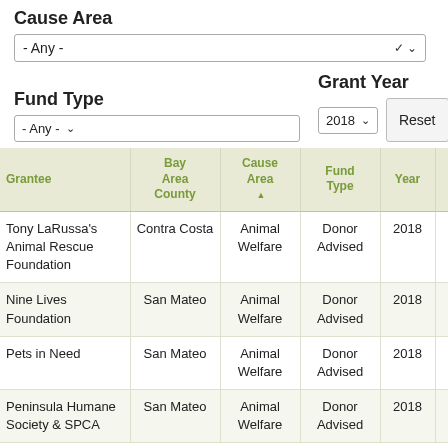Cause Area
- Any -
Fund Type
Grant Year
- Any -
2018
Reset
| Grantee | Bay Area County | Cause Area ▲ | Fund Type | Year | Amo... (US$) |
| --- | --- | --- | --- | --- | --- |
| Tony LaRussa's Animal Rescue Foundation | Contra Costa | Animal Welfare | Donor Advised | 2018 |  |
| Nine Lives Foundation | San Mateo | Animal Welfare | Donor Advised | 2018 |  |
| Pets in Need | San Mateo | Animal Welfare | Donor Advised | 2018 |  |
| Peninsula Humane Society & SPCA | San Mateo | Animal Welfare | Donor Advised | 2018 |  |